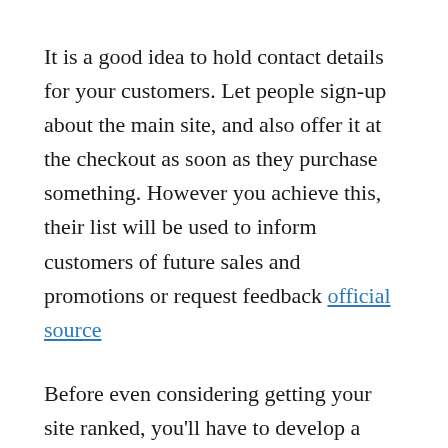It is a good idea to hold contact details for your customers. Let people sign-up about the main site, and also offer it at the checkout as soon as they purchase something. However you achieve this, their list will be used to inform customers of future sales and promotions or request feedback official source
Before even considering getting your site ranked, you'll have to develop a terrific website. This can be a crucial initial step for virtually any online company. For those who have a great website, you will possess less work later on.